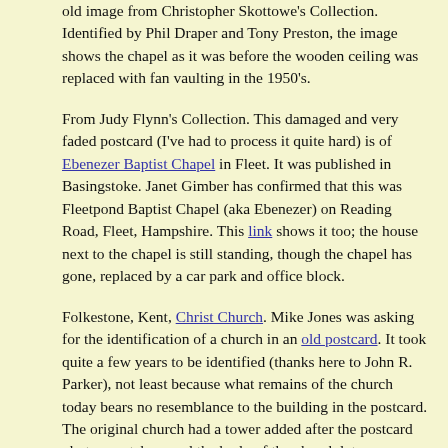old image from Christopher Skottowe's Collection. Identified by Phil Draper and Tony Preston, the image shows the chapel as it was before the wooden ceiling was replaced with fan vaulting in the 1950's.
From Judy Flynn's Collection. This damaged and very faded postcard (I've had to process it quite hard) is of Ebenezer Baptist Chapel in Fleet. It was published in Basingstoke. Janet Gimber has confirmed that this was Fleetpond Baptist Chapel (aka Ebenezer) on Reading Road, Fleet, Hampshire. This link shows it too; the house next to the chapel is still standing, though the chapel has gone, replaced by a car park and office block.
Folkestone, Kent, Christ Church. Mike Jones was asking for the identification of a church in an old postcard. It took quite a few years to be identified (thanks here to John R. Parker), not least because what remains of the church today bears no resemblance to the building in the postcard. The original church had a tower added after the postcard photo was taken, and the body of the church later demolished (following WWII bomb damage), leaving only the tower. Its history (with photos) can be seen here. TR 2228